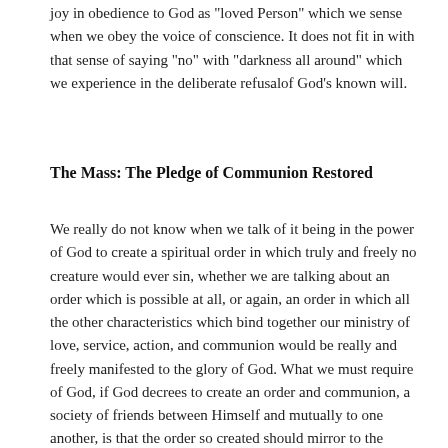joy in obedience to God as "loved Person" which we sense when we obey the voice of conscience. It does not fit in with that sense of saying "no" with "darkness all around" which we experience in the deliberate refusalof God's known will.
The Mass: The Pledge of Communion Restored
We really do not know when we talk of it being in the power of God to create a spiritual order in which truly and freely no creature would ever sin, whether we are talking about an order which is possible at all, or again, an order in which all the other characteristics which bind together our ministry of love, service, action, and communion would be really and freely manifested to the glory of God. What we must require of God, if God decrees to create an order and communion, a society of friends between Himself and mutually to one another, is that the order so created should mirror to the fullest degree we can conceive, and beyond the fullest we can conceive, all the attributes of God, including most essentially the mercy, comprehension, understanding and forgiveness in love, of God.Such an order we do know and experience in the Incarnation of the transcendent God, and the redemption of mankind, in the whole gamut of His work.